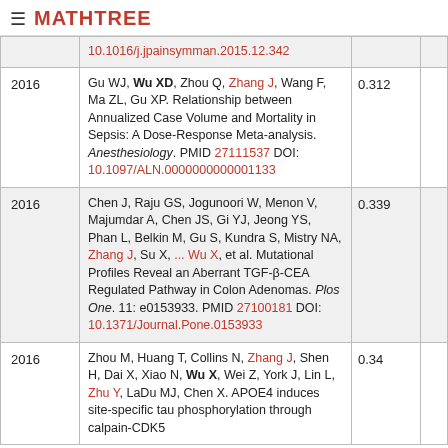≡ MATHTREE
| Year | Reference | Score |  |
| --- | --- | --- | --- |
|  | 10.1016/j.jpainsymman.2015.12.342 |  |  |
| 2016 | Gu WJ, Wu XD, Zhou Q, Zhang J, Wang F, Ma ZL, Gu XP. Relationship between Annualized Case Volume and Mortality in Sepsis: A Dose-Response Meta-analysis. Anesthesiology. PMID 27111537 DOI: 10.1097/ALN.0000000000001133 | 0.312 |  |
| 2016 | Chen J, Raju GS, Jogunoori W, Menon V, Majumdar A, Chen JS, Gi YJ, Jeong YS, Phan L, Belkin M, Gu S, Kundra S, Mistry NA, Zhang J, Su X, ... Wu X, et al. Mutational Profiles Reveal an Aberrant TGF-β-CEA Regulated Pathway in Colon Adenomas. Plos One. 11: e0153933. PMID 27100181 DOI: 10.1371/Journal.Pone.0153933 | 0.339 |  |
| 2016 | Zhou M, Huang T, Collins N, Zhang J, Shen H, Dai X, Xiao N, Wu X, Wei Z, York J, Lin L, Zhu Y, LaDu MJ, Chen X. APOE4 induces site-specific tau phosphorylation through calpain-CDK5 | 0.34 |  |